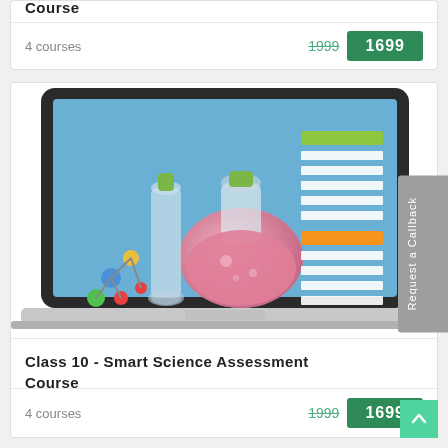Course
4 courses
1999  1699
[Figure (illustration): Laptop displaying chemistry lab flasks and molecular model with colorful bar graphics on screen, on a light blue background.]
Class 10 - Smart Science Assessment Course
4 courses
1999  1699